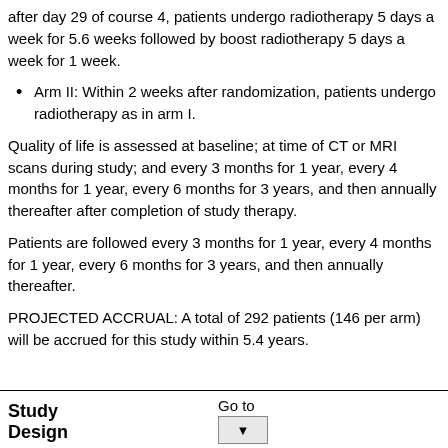after day 29 of course 4, patients undergo radiotherapy 5 days a week for 5.6 weeks followed by boost radiotherapy 5 days a week for 1 week.
Arm II: Within 2 weeks after randomization, patients undergo radiotherapy as in arm I.
Quality of life is assessed at baseline; at time of CT or MRI scans during study; and every 3 months for 1 year, every 4 months for 1 year, every 6 months for 3 years, and then annually thereafter after completion of study therapy.
Patients are followed every 3 months for 1 year, every 4 months for 1 year, every 6 months for 3 years, and then annually thereafter.
PROJECTED ACCRUAL: A total of 292 patients (146 per arm) will be accrued for this study within 5.4 years.
Study Design
Go to